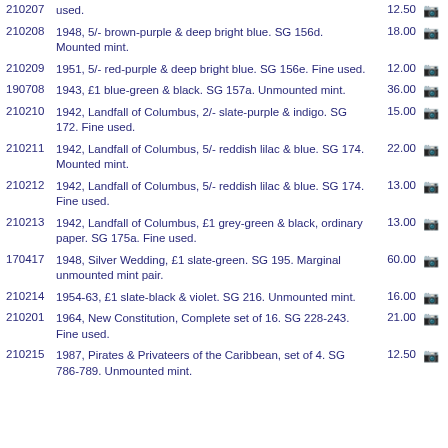| Lot | Description | Price |  |
| --- | --- | --- | --- |
| 210207 | used. | 12.50 | 📷 |
| 210208 | 1948, 5/- brown-purple & deep bright blue.  SG 156d.  Mounted mint. | 18.00 | 📷 |
| 210209 | 1951, 5/- red-purple & deep bright blue.  SG 156e.  Fine used. | 12.00 | 📷 |
| 190708 | 1943, £1 blue-green & black.  SG 157a.  Unmounted mint. | 36.00 | 📷 |
| 210210 | 1942, Landfall of Columbus, 2/- slate-purple & indigo.  SG 172.  Fine used. | 15.00 | 📷 |
| 210211 | 1942, Landfall of Columbus, 5/- reddish lilac & blue.  SG 174.  Mounted mint. | 22.00 | 📷 |
| 210212 | 1942, Landfall of Columbus, 5/- reddish lilac & blue.  SG 174.  Fine used. | 13.00 | 📷 |
| 210213 | 1942, Landfall of Columbus, £1 grey-green & black, ordinary paper.  SG 175a.  Fine used. | 13.00 | 📷 |
| 170417 | 1948, Silver Wedding, £1 slate-green.  SG 195.  Marginal unmounted mint pair. | 60.00 | 📷 |
| 210214 | 1954-63, £1 slate-black & violet.  SG 216.  Unmounted mint. | 16.00 | 📷 |
| 210201 | 1964, New Constitution, Complete set of 16.  SG 228-243.  Fine used. | 21.00 | 📷 |
| 210215 | 1987, Pirates & Privateers of the Caribbean, set of 4.  SG 786-789.  Unmounted mint. | 12.50 | 📷 |